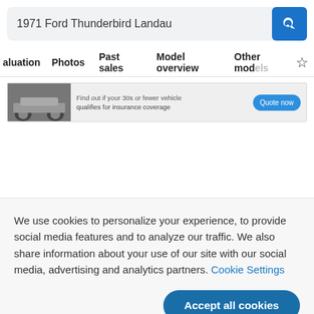1971 Ford Thunderbird Landau
aluation  Photos  Past sales  Model overview  Other models
[Figure (screenshot): Advertisement banner: car image on left, text 'Find out if your 30s or fewer vehicle qualifies for insurance coverage', and 'Quote now' button in blue]
We use cookies to personalize your experience, to provide social media features and to analyze our traffic. We also share information about your use of our site with our social media, advertising and analytics partners. Cookie Settings
Accept all cookies